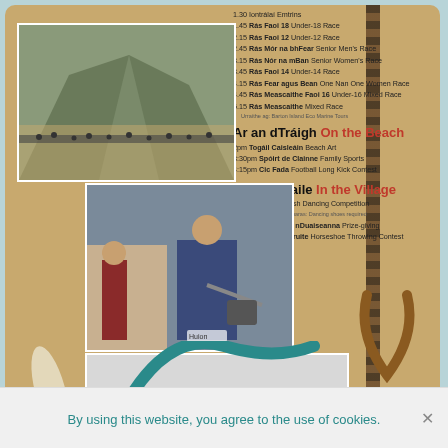[Figure (photo): Event program page showing photos of a beach/mountain scene, people at a rowing event, and a black-and-white photo of rowers on water, overlaid on a sandy beach-toned background with a rope decoration and horseshoe. Text lists scheduled events in Irish and English.]
1.30 Iontrálaí Emtrins
1.45 Rás Faoi 18 Under-18 Race
2.15 Rás Faoi 12 Under-12 Race
2.45 Rás Mór na bhFear Senior Men's Race
3.15 Rás Nór na mBan Senior Women's Race
3.45 Rás Faoi 14 Under-14 Race
4.15 Rás Fear agus Bean One Nan One Women Race
4.45 Rás Meascaithe Faoi 16 Under-16 Mixed Race
5.15 Rás Meascaithe Mixed Race
Ar an dTráigh On the Beach
2pm Togáil Caisleáin Beach Art
3:30pm Spóirt de Clainne Family Sports
4:15pm Cic Fada Football Long Kick Contest
Ar an mBaile In the Village
5pm Feis Rince Irish Dancing Competition
6pm Bronnadh na nDuaiseanna Prize-giving
7pm Caitheamh Cruite Horseshoe Throwing Contest
By using this website, you agree to the use of cookies.